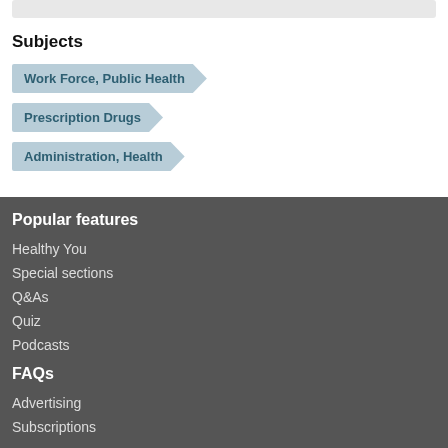Subjects
Work Force, Public Health
Prescription Drugs
Administration, Health
Popular features
Healthy You
Special sections
Q&As
Quiz
Podcasts
FAQs
Advertising
Subscriptions